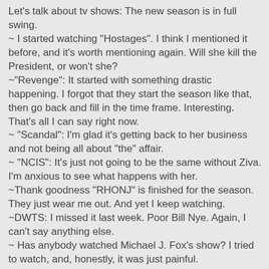Let's talk about tv shows:  The new season is in full swing.
~ I started watching "Hostages".  I think I mentioned it before, and it's worth mentioning again.  Will she kill the President, or won't she?
~"Revenge":  It started with something drastic happening.  I forgot that they start the season like that, then go back and fill in the time frame.  Interesting.  That's all I can say right now.
~ "Scandal":  I'm glad it's getting back to her business and not being all about "the" affair.
~ "NCIS":  It's just not going to be the same without Ziva.  I'm anxious to see what happens with her.
~Thank goodness "RHONJ" is finished for the season.  They just wear me out.  And yet I keep watching.
~DWTS:  I missed it last week.  Poor Bill Nye.  Again, I can't say anything else.
~ Has anybody watched Michael J. Fox's show?  I tried to watch, and, honestly, it was just painful.
~ I caught an episode of "Cold Justice" (TNT) yesterday.  It was really good.  Definitely worth watching again.
~  "The Crazy Ones" looks like it could be pretty good.  With Robin Williams, you know it's gotta be funny, right?